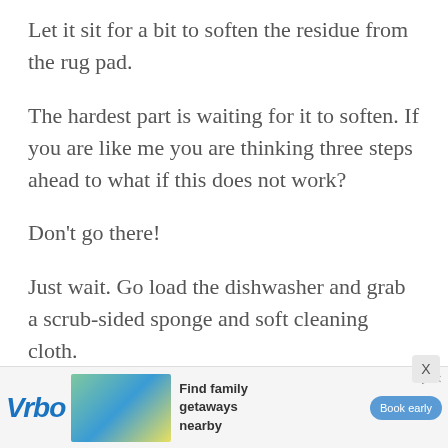Let it sit for a bit to soften the residue from the rug pad.
The hardest part is waiting for it to soften. If you are like me you are thinking three steps ahead to what if this does not work?
Don’t go there!
Just wait. Go load the dishwasher and grab a scrub-sided sponge and soft cleaning cloth.
[Figure (other): Vrbo advertisement banner with logo, beach house image, and 'Find family getaways nearby' text with a 'Book early' button]